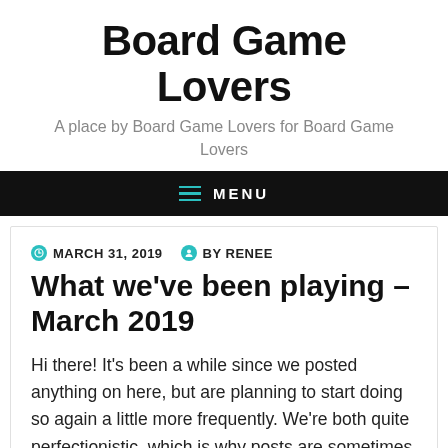Board Game Lovers
A place by Board Game Lovers for Board Game Lovers
MENU
MARCH 31, 2019   BY RENEE
What we've been playing – March 2019
Hi there! It's been a while since we posted anything on here, but are planning to start doing so again a little more frequently. We're both quite perfectionistic, which is why posts are sometimes lying around for a while before we are fully content with them. However, we